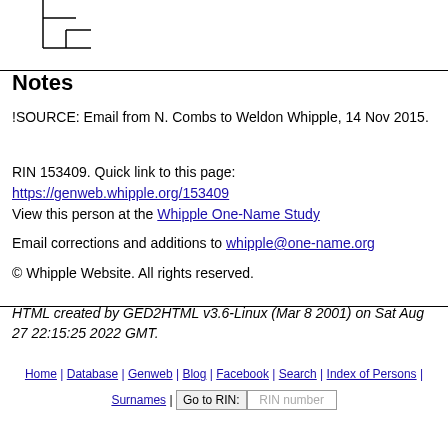[Figure (other): Family tree branch diagram showing vertical and horizontal lines forming a genealogical tree structure]
Notes
!SOURCE: Email from N. Combs to Weldon Whipple, 14 Nov 2015.
RIN 153409. Quick link to this page: https://genweb.whipple.org/153409
View this person at the Whipple One-Name Study
Email corrections and additions to whipple@one-name.org
© Whipple Website. All rights reserved.
HTML created by GED2HTML v3.6-Linux (Mar 8 2001) on Sat Aug 27 22:15:25 2022 GMT.
Home | Database | Genweb | Blog | Facebook | Search | Index of Persons | Surnames | Go to RIN: [RIN number]